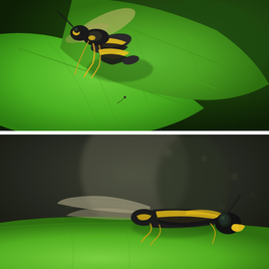[Figure (photo): Close-up macro photograph of a yellow and black wasp (yellowjacket) perched on the edge of a bright green leaf. The wasp is viewed from the side showing its striped abdomen, wings, and legs. Background is dark green bokeh.]
[Figure (photo): Close-up macro photograph of a yellow and black wasp or bee resting on a green leaf, viewed from a low angle. The insect faces right and shows compound eyes, yellow markings on thorax, and semi-transparent wings. Background is blurred dark green and grey-brown.]